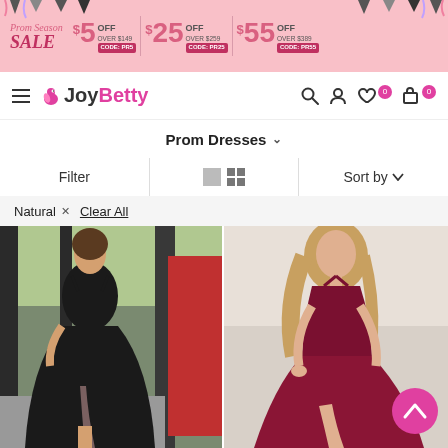[Figure (screenshot): Prom Season Sale banner with discount offers: $5 OFF OVER $149 CODE: PR5, $25 OFF OVER $259 CODE: PR25, $55 OFF OVER $389 CODE: PR55]
JoyBetty navigation bar with hamburger menu, logo, search, user, wishlist (0) and cart (0) icons
Prom Dresses
Filter | Sort by
Natural x  Clear All
[Figure (photo): Black spaghetti strap A-line prom dress with high slit, worn by a model outdoors]
[Figure (photo): Burgundy/dark red satin halter prom dress with high slit, worn by a model against a light wall]